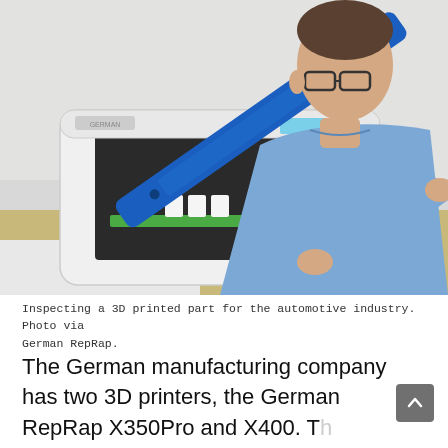[Figure (photo): A man in a blue shirt inspecting a long blue 3D printed part, holding it up close to his face to examine it. In the background is a German RepRap 3D printer on a wooden desk with small white printed objects on the print bed.]
Inspecting a 3D printed part for the automotive industry. Photo via German RepRap.
The German manufacturing company has two 3D printers, the German RepRap X350Pro and X400. The company has been able to produce 3D printed parts